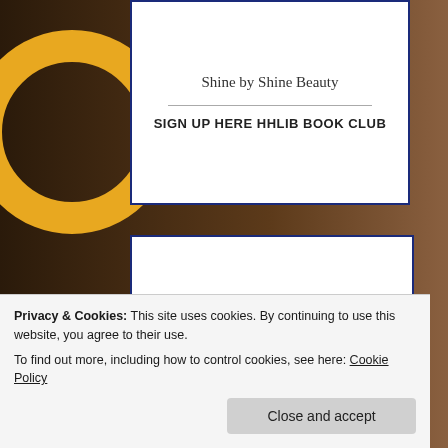[Figure (screenshot): Screenshot of a website page showing a white bordered card with 'Shine by Shine Beauty' text and 'SIGN UP HERE HHLIB BOOK CLUB' link, a lower card showing the word 'Love' in dark red italic script, decorative background with dark brown tones, yellow ring and blue shape on left side, and a cookie consent banner at the bottom.]
Shine by Shine Beauty
SIGN UP HERE HHLIB BOOK CLUB
Privacy & Cookies: This site uses cookies. By continuing to use this website, you agree to their use.
To find out more, including how to control cookies, see here: Cookie Policy
Close and accept